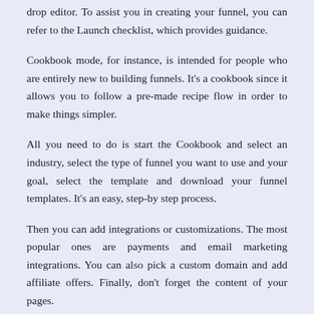drop editor. To assist you in creating your funnel, you can refer to the Launch checklist, which provides guidance.
Cookbook mode, for instance, is intended for people who are entirely new to building funnels. It’s a cookbook since it allows you to follow a pre-made recipe flow in order to make things simpler.
All you need to do is start the Cookbook and select an industry, select the type of funnel you want to use and your goal, select the template and download your funnel templates. It’s an easy, step-by step process.
Then you can add integrations or customizations. The most popular ones are payments and email marketing integrations. You can also pick a custom domain and add affiliate offers. Finally, don’t forget the content of your pages.
Overall, ClickFunnels is pretty easy to use no matter your previous